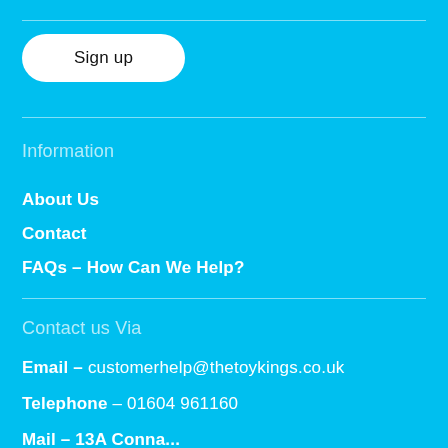Sign up
Information
About Us
Contact
FAQs – How Can We Help?
Contact us Via
Email – customerhelp@thetoykings.co.uk
Telephone – 01604 961160
Mail – 13A Connaught Ave, Bedford Road, Northampton...